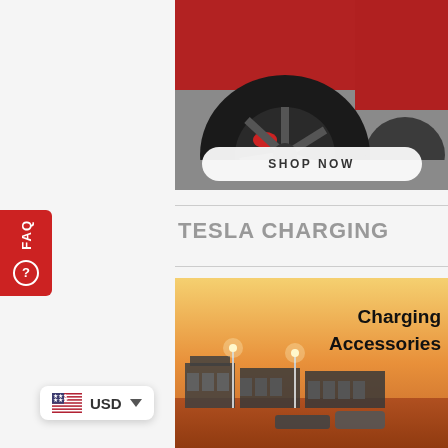[Figure (photo): Close-up of a red Tesla vehicle wheel/tire on pavement, partially visible]
SHOP NOW
TESLA CHARGING
[Figure (photo): Charging Accessories product image showing a Tesla facility at sunset with warm orange sky and building silhouettes]
USD
FAQ